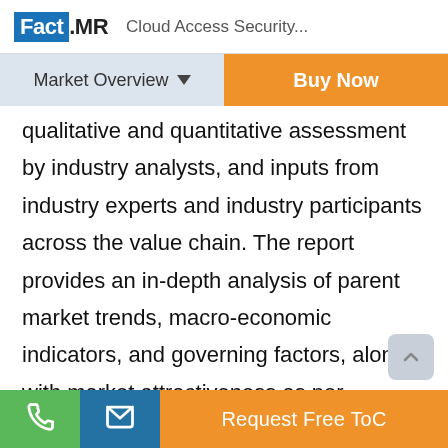Fact.MR  Cloud Access Security...
Market Overview  Buy Now
qualitative and quantitative assessment by industry analysts, and inputs from industry experts and industry participants across the value chain. The report provides an in-depth analysis of parent market trends, macro-economic indicators, and governing factors, along with market attractiveness as per segment. The report also maps the qualitative impact of various market factors on market segments and geographies.
Request Free ToC